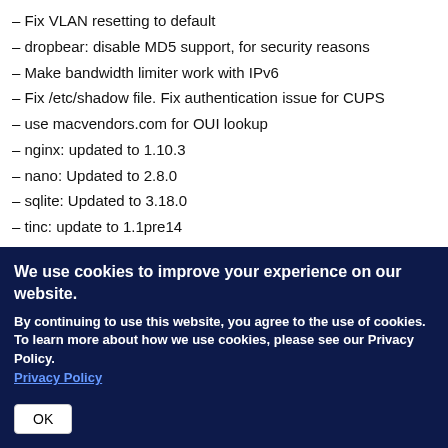– Fix VLAN resetting to default
– dropbear: disable MD5 support, for security reasons
– Make bandwidth limiter work with IPv6
– Fix /etc/shadow file. Fix authentication issue for CUPS
– use macvendors.com for OUI lookup
– nginx: updated to 1.10.3
– nano: Updated to 2.8.0
– sqlite: Updated to 3.18.0
– tinc: update to 1.1pre14
– OpenVPN: updated to 2.4.1
– OpenVPN: upgrade bundled LZ4 library to 1.7.5
– dnsmasq: Many changes ported from upstream up to March 17th, 2017
We use cookies to improve your experience on our website.
By continuing to use this website, you agree to the use of cookies. To learn more about how we use cookies, please see our Privacy Policy. Privacy Policy
OK